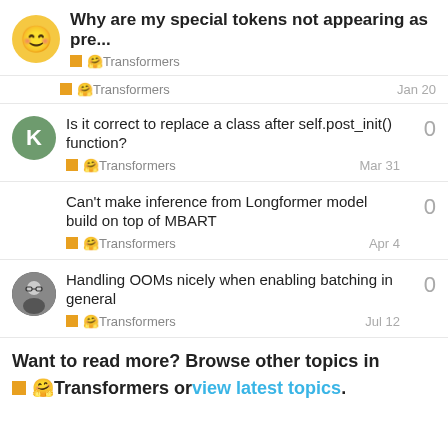Why are my special tokens not appearing as pre... · 🤗Transformers
🤗Transformers · Jan 20
Is it correct to replace a class after self.post_init() function? · 🤗Transformers · Mar 31 · 0
Can't make inference from Longformer model build on top of MBART · 🤗Transformers · Apr 4 · 0
Handling OOMs nicely when enabling batching in general · 🤗Transformers · Jul 12 · 0
Want to read more? Browse other topics in 🤗Transformers or view latest topics.